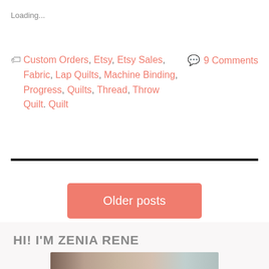Loading...
Custom Orders, Etsy, Etsy Sales, Fabric, Lap Quilts, Machine Binding, Progress, Quilts, Thread, Throw Quilt. Quilt
9 Comments
Older posts
HI! I'M ZENIA RENE
[Figure (photo): Partial photo visible at bottom of page, appears to be a portrait photo cropped.]